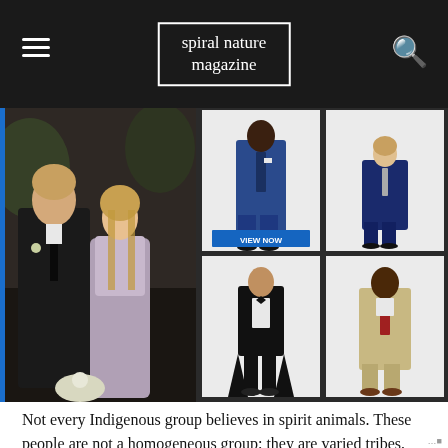spiral nature magazine
[Figure (photo): Magazine webpage screenshot showing a wedding couple on the left (man in black tuxedo, woman in white dress) and a grid of four suit/tuxedo product images on the right with a VIEW NOW button. Below is article text about Indigenous spirit animals.]
Not every Indigenous group believes in spirit animals. These people are not a homogeneous group; they are varied tribes, with various beliefs and traditions. Spirit animals do appear in more than one tribe's traditions but not all of them. Each practice is unique and sacred, and thinking you can just be